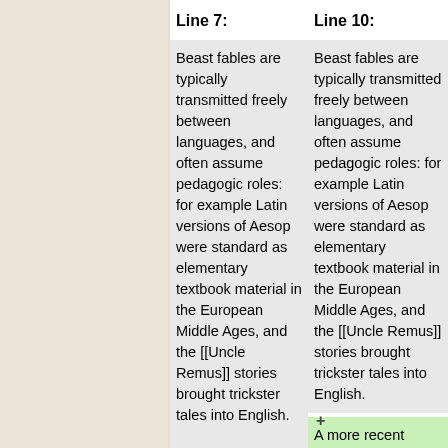Line 7:
Line 10:
Beast fables are typically transmitted freely between languages, and often assume pedagogic roles: for example Latin versions of Aesop were standard as elementary textbook material in the European Middle Ages, and the [[Uncle Remus]] stories brought trickster tales into English.
Beast fables are typically transmitted freely between languages, and often assume pedagogic roles: for example Latin versions of Aesop were standard as elementary textbook material in the European Middle Ages, and the [[Uncle Remus]] stories brought trickster tales into English.
A more recent example, in English literature, was [[George Orwell]]'s allegorical novel "[[Animal Farm]]", in which various political ideologies were personified as animals